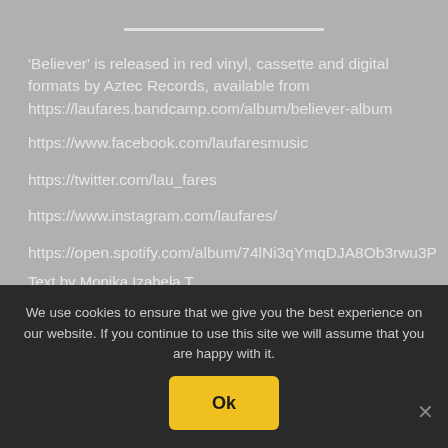'Believer' is released in red vinyl, cassette and digital formats by Aztec Records, available from https://laufares.bandcamp.com/album/believer-album
https://www.facebook.com/laufaresmusic
https://twitter.com/lau_fares
https://www.instagram.com/laufares/
https://open.spotify.com/album/74lNi3qYmqDJA8Ob3rwu3P
Text by Monika Izabela T...
22nd February 2021
We use cookies to ensure that we give you the best experience on our website. If you continue to use this site we will assume that you are happy with it.